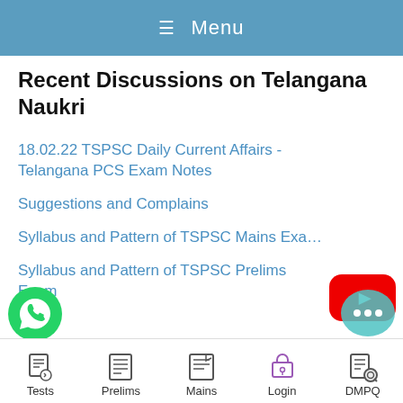Menu
Recent Discussions on Telangana Naukri
18.02.22 TSPSC Daily Current Affairs - Telangana PCS Exam Notes
Suggestions and Complains
Syllabus and Pattern of TSPSC Mains Exa…
Syllabus and Pattern of TSPSC Prelims Exam
Tests | Prelims | Mains | Login | DMPQ